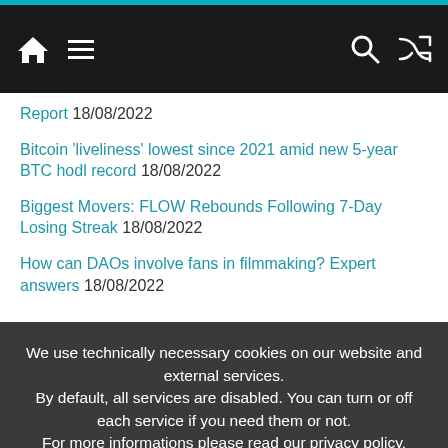Navigation bar with home, menu, search, and shuffle icons
Report 18/08/2022
Bitcoin 'liveliness' lowest since 2021 amid new 5-year BTC hodl record 18/08/2022
Biggest Movers: FLOW Rebounds Following 7-Day Losing Streak 18/08/2022
How can DAOs involve fans in filmmaking? Expert answers 18/08/2022
We use technically necessary cookies on our website and external services. By default, all services are disabled. You can turn or off each service if you need them or not. For more informations please read our privacy policy.
✓ Accept
Customize